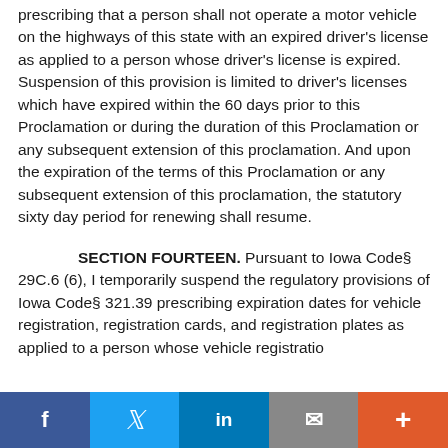prescribing that a person shall not operate a motor vehicle on the highways of this state with an expired driver's license as applied to a person whose driver's license is expired. Suspension of this provision is limited to driver's licenses which have expired within the 60 days prior to this Proclamation or during the duration of this Proclamation or any subsequent extension of this proclamation. And upon the expiration of the terms of this Proclamation or any subsequent extension of this proclamation, the statutory sixty day period for renewing shall resume.
SECTION FOURTEEN. Pursuant to Iowa Code§ 29C.6 (6), I temporarily suspend the regulatory provisions of Iowa Code§ 321.39 prescribing expiration dates for vehicle registration, registration cards, and registration plates as applied to a person whose vehicle registration
f  |  in  |  (envelope)  |  +